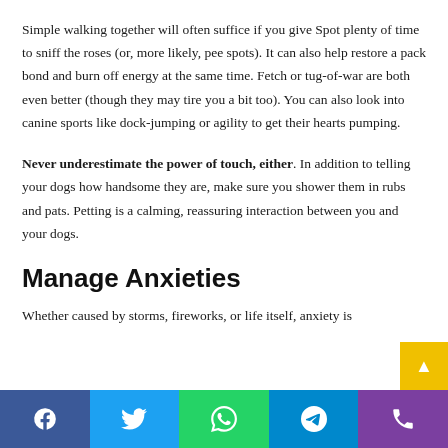Simple walking together will often suffice if you give Spot plenty of time to sniff the roses (or, more likely, pee spots). It can also help restore a pack bond and burn off energy at the same time. Fetch or tug-of-war are both even better (though they may tire you a bit too). You can also look into canine sports like dock-jumping or agility to get their hearts pumping.
Never underestimate the power of touch, either. In addition to telling your dogs how handsome they are, make sure you shower them in rubs and pats. Petting is a calming, reassuring interaction between you and your dogs.
Manage Anxieties
Whether caused by storms, fireworks, or life itself, anxiety is...